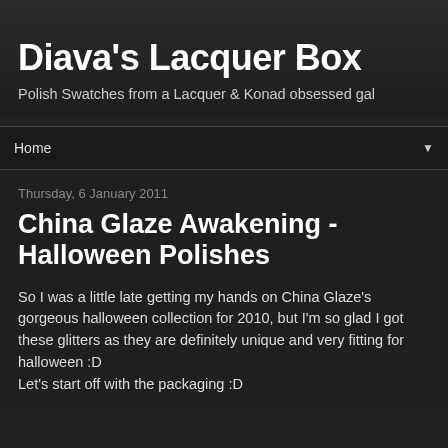Diava's Lacquer Box
Polish Swatches from a Lacquer & Konad obsessed gal
Home
Thursday, 6 January 2011
China Glaze Awakening - Halloween Polishes
So I was a little late getting my hands on China Glaze's gorgeous halloween collection for 2010, but I'm so glad I got these glitters as they are definitely unique and very fitting for halloween :D
Let's start off with the packaging :D